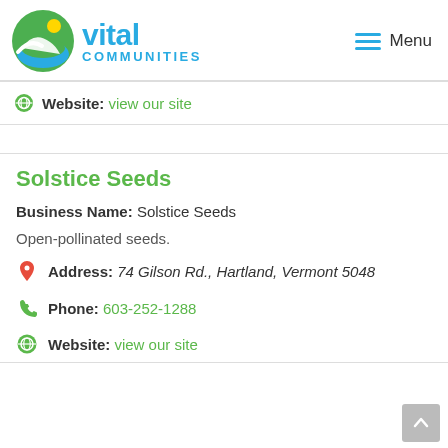[Figure (logo): Vital Communities logo with circular green/blue icon and text 'vital COMMUNITIES']
Website: view our site
Solstice Seeds
Business Name: Solstice Seeds
Open-pollinated seeds.
Address: 74 Gilson Rd., Hartland, Vermont 5048
Phone: 603-252-1288
Website: view our site